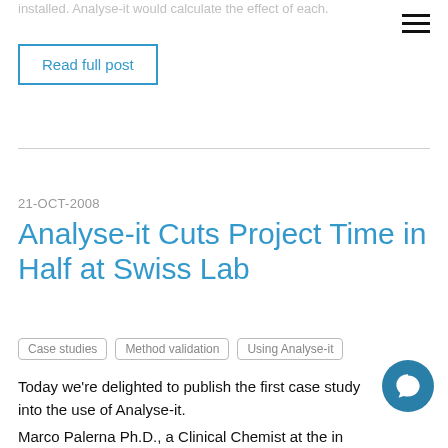installed. Analyse-it would calculate the effect of each.
Read full post
21-OCT-2008
Analyse-it Cuts Project Time in Half at Swiss Lab
Case studies
Method validation
Using Analyse-it
Today we're delighted to publish the first case study into the use of Analyse-it.
Marco Palerna Ph.D., a Clinical Chemist at the in